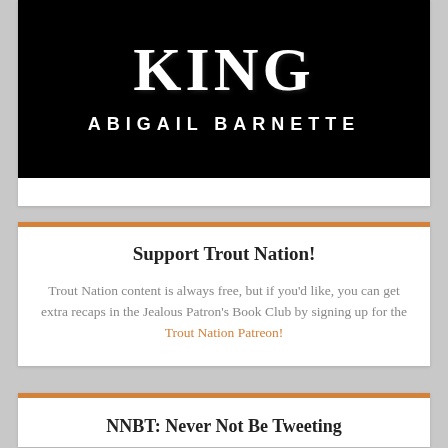[Figure (illustration): Partial book cover showing title 'KING' in large white serif font and author name 'ABIGAIL BARNETTE' in white spaced capital letters on a black background.]
Support Trout Nation!
Trout Nation content is always free, but if you'd like, you can get extra recaps in the Jealous Patron's Book Club by signing up for the Trout Nation Patreon!
NNBT: Never Not Be Tweeting